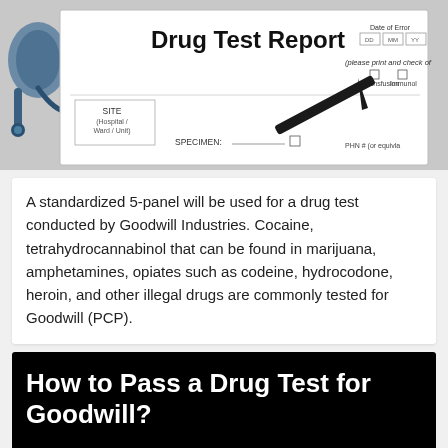[Figure (photo): Photo of a Drug Test Report form with a stethoscope on the left and a pen on the form. The form shows 'Drug Test Report' title, fields for SITE (Hospital/Ward/Unit), SPECIMEN, Date of Error fields, and checkboxes for Transfusion and Immunol.]
A standardized 5-panel will be used for a drug test conducted by Goodwill Industries. Cocaine, tetrahydrocannabinol that can be found in marijuana, amphetamines, opiates such as codeine, hydrocodone, heroin, and other illegal drugs are commonly tested for Goodwill (PCP).
How to Pass a Drug Test for Goodwill?
You will want to go above and aim above once yo gotten this far to ensure you receive the position with